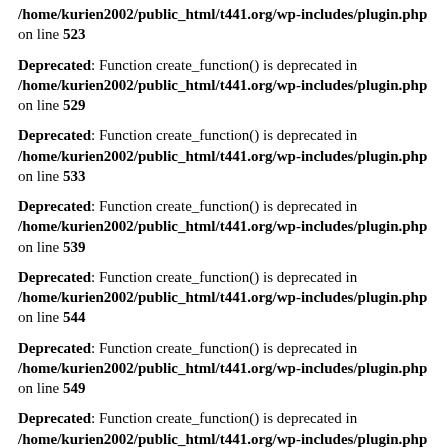/home/kurien2002/public_html/t441.org/wp-includes/plugin.php on line 523
Deprecated: Function create_function() is deprecated in /home/kurien2002/public_html/t441.org/wp-includes/plugin.php on line 529
Deprecated: Function create_function() is deprecated in /home/kurien2002/public_html/t441.org/wp-includes/plugin.php on line 533
Deprecated: Function create_function() is deprecated in /home/kurien2002/public_html/t441.org/wp-includes/plugin.php on line 539
Deprecated: Function create_function() is deprecated in /home/kurien2002/public_html/t441.org/wp-includes/plugin.php on line 544
Deprecated: Function create_function() is deprecated in /home/kurien2002/public_html/t441.org/wp-includes/plugin.php on line 549
Deprecated: Function create_function() is deprecated in /home/kurien2002/public_html/t441.org/wp-includes/plugin.php